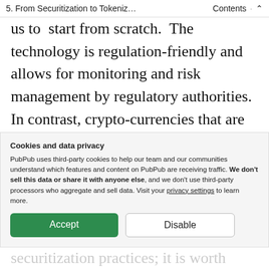5. From Securitization to Tokeniz…  Contents  ˄
us to start from scratch. The technology is regulation-friendly and allows for monitoring and risk management by regulatory authorities. In contrast, crypto-currencies that are seeded in the spirit of full decentralization are without jurisdiction and hence lack the investor protections and monitoring necessary for
Cookies and data privacy
PubPub uses third-party cookies to help our team and our communities understand which features and content on PubPub are receiving traffic. We don't sell this data or share it with anyone else, and we don't use third-party processors who aggregate and sell data. Visit your privacy settings to learn more.
Accept   Disable
securitization practices; it is worth noting